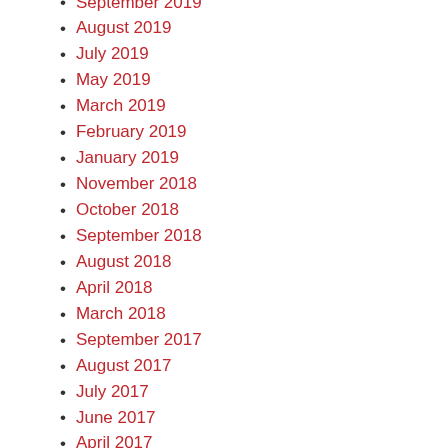September 2019
August 2019
July 2019
May 2019
March 2019
February 2019
January 2019
November 2018
October 2018
September 2018
August 2018
April 2018
March 2018
September 2017
August 2017
July 2017
June 2017
April 2017
March 2017
December 2016
November 2016
September 2016
August 2016